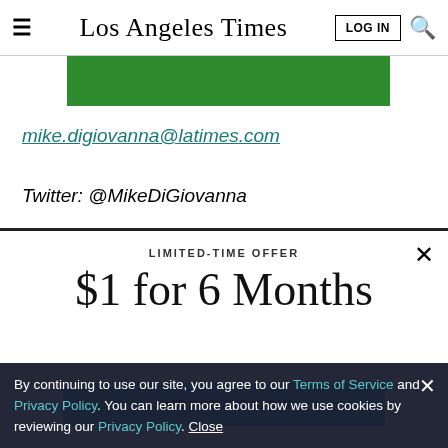Los Angeles Times
[Figure (other): Green advertisement banner bar]
mike.digiovanna@latimes.com
Twitter: @MikeDiGiovanna
LIMITED-TIME OFFER
$1 for 6 Months
SUBSCRIBE NOW
By continuing to use our site, you agree to our Terms of Service and Privacy Policy. You can learn more about how we use cookies by reviewing our Privacy Policy. Close